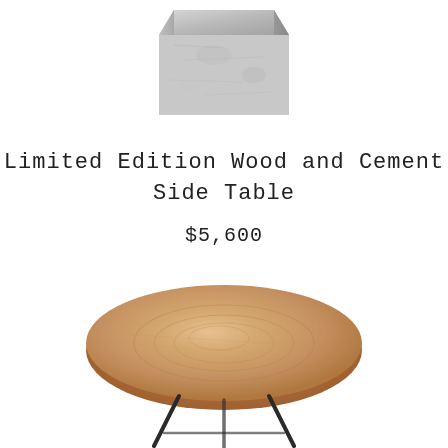[Figure (photo): A small cement/concrete block or planter with a rough textured surface, grey and white tones, partially cropped at top of image]
Limited Edition Wood and Cement Side Table
$5,600
[Figure (photo): A round wooden side table top with a warm light brown wood grain finish, supported by thin dark metal legs, photographed on white background, bottom portion partially cropped]